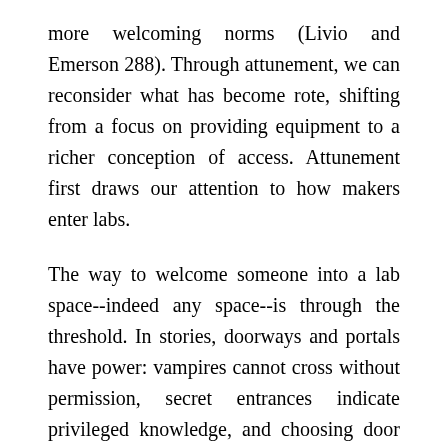more welcoming norms (Livio and Emerson 288). Through attunement, we can reconsider what has become rote, shifting from a focus on providing equipment to a richer conception of access. Attunement first draws our attention to how makers enter labs.
The way to welcome someone into a lab space--indeed any space--is through the threshold. In stories, doorways and portals have power: vampires cannot cross without permission, secret entrances indicate privileged knowledge, and choosing door number one can secure fabulous riches or doom you to a perilous end. Just as in fiction, lab thresholds have power. They are emblematic of the lab experience,